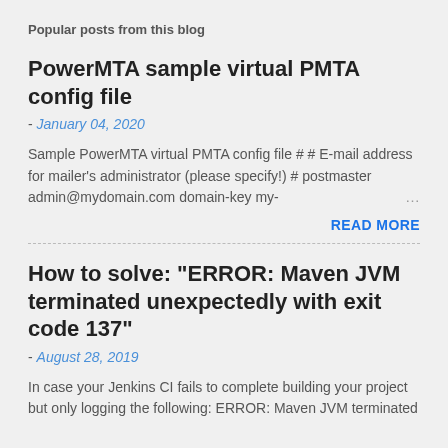Popular posts from this blog
PowerMTA sample virtual PMTA config file
- January 04, 2020
Sample PowerMTA virtual PMTA config file # # E-mail address for mailer's administrator (please specify!) # postmaster admin@mydomain.com domain-key my- ...
READ MORE
How to solve: "ERROR: Maven JVM terminated unexpectedly with exit code 137"
- August 28, 2019
In case your Jenkins CI fails to complete building your project but only logging the following: ERROR: Maven JVM terminated